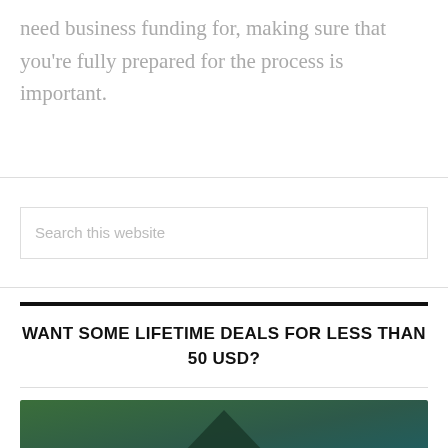need business funding for, making sure that you're fully prepared for the process is important.
Search this website
WANT SOME LIFETIME DEALS FOR LESS THAN 50 USD?
[Figure (illustration): Green to teal gradient background with a dark upward-pointing triangle/arrow shape in the center and the word EXCLUSIVE in white spaced letters at the bottom center]